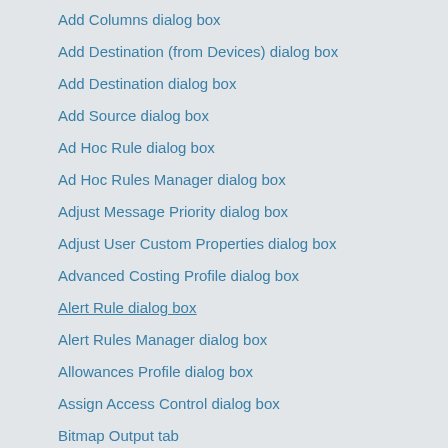Add Columns dialog box
Add Destination (from Devices) dialog box
Add Destination dialog box
Add Source dialog box
Ad Hoc Rule dialog box
Ad Hoc Rules Manager dialog box
Adjust Message Priority dialog box
Adjust User Custom Properties dialog box
Advanced Costing Profile dialog box
Alert Rule dialog box
Alert Rules Manager dialog box
Allowances Profile dialog box
Assign Access Control dialog box
Bitmap Output tab
Browse LDAP Server dialog box